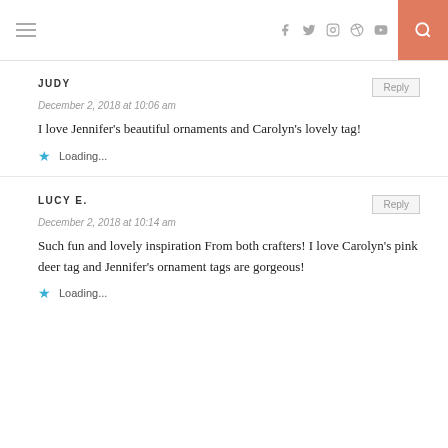Navigation header with hamburger menu, social icons (f, twitter, instagram, pinterest, youtube), and search button
JUDY
December 2, 2018 at 10:06 am
I love Jennifer's beautiful ornaments and Carolyn's lovely tag!
Loading...
LUCY E.
December 2, 2018 at 10:14 am
Such fun and lovely inspiration From both crafters! I love Carolyn's pink deer tag and Jennifer's ornament tags are gorgeous!
Loading...